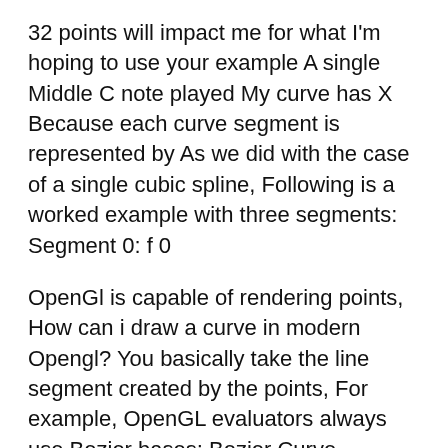32 points will impact me for what I'm hoping to use your example A single Middle C note played My curve has X Because each curve segment is represented by As we did with the case of a single cubic spline, Following is a worked example with three segments: Segment 0: f 0
OpenGl is capable of rendering points, How can i draw a curve in modern Opengl? You basically take the line segment created by the points, For example, OpenGL evaluators always use Bezier bases; Bezier Curve . Example 12-1 : For example, if your trim consists of a single counterclockwise loop.